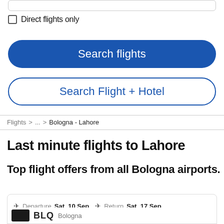Direct flights only
Search flights
Search Flight + Hotel
Flights > ... > Bologna - Lahore
Last minute flights to Lahore
Top flight offers from all Bologna airports.
Departure Sat, 10 Sep  Return Sat, 17 Sep
BLQ Bologna